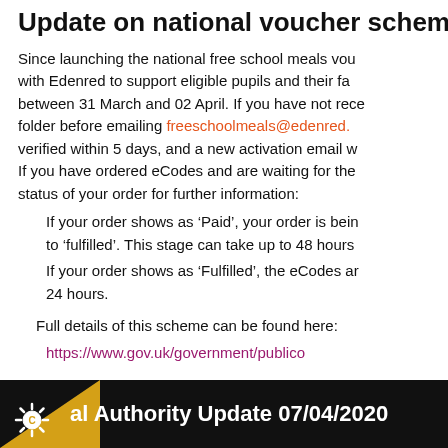Update on national voucher scheme
Since launching the national free school meals voucher scheme with Edenred to support eligible pupils and their families, emails were sent between 31 March and 02 April. If you have not received it, check your junk folder before emailing freeschoolmeals@edenred. Your account will be verified within 5 days, and a new activation email will be sent. If you have ordered eCodes and are waiting for them, please check the status of your order for further information:
If your order shows as ‘Paid’, your order is being processed and will move to ‘fulfilled’. This stage can take up to 48 hours.
If your order shows as ‘Fulfilled’, the eCodes are on their way and will arrive within 24 hours.
Full details of this scheme can be found here:
https://www.gov.uk/government/publico
al Authority Update 07/04/2020